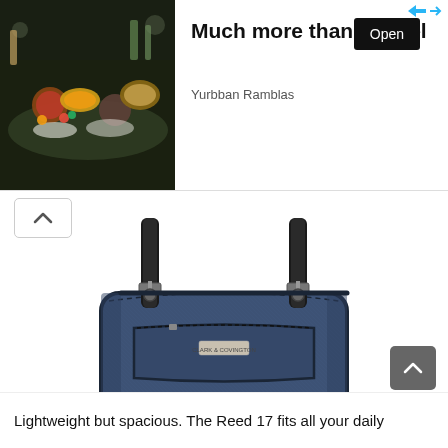[Figure (photo): Advertisement banner: left side shows a food/buffet table photo (hotel breakfast spread), right side shows text 'Much more than a hotel', subtitle 'Yurbban Ramblas', and a black 'Open' button. Blue arrow icon top-right corner.]
[Figure (photo): Product photo of a blue/denim tote bag with dark leather handles and trim, front zipper pocket, brand label on front. The Reed 17 laptop bag.]
Lightweight but spacious. The Reed 17 fits all your daily